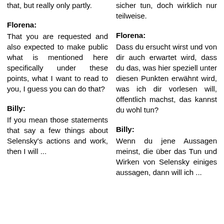that, but really only partly.
sicher tun, doch wirklich nur teilweise.
Florena:
Florena:
That you are requested and also expected to make public what is mentioned here specifically under these points, what I want to read to you, I guess you can do that?
Dass du ersucht wirst und von dir auch erwartet wird, dass du das, was hier speziell unter diesen Punkten erwähnt wird, was ich dir vorlesen will, öffentlich machst, das kannst du wohl tun?
Billy:
Billy:
If you mean those statements that say a few things about Selensky's actions and work, then I will ...
Wenn du jene Aussagen meinst, die über das Tun und Wirken von Selensky einiges aussagen, dann will ich ...